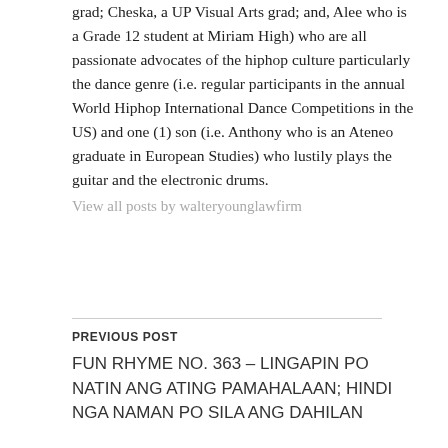grad; Cheska, a UP Visual Arts grad; and, Alee who is a Grade 12 student at Miriam High) who are all passionate advocates of the hiphop culture particularly the dance genre (i.e. regular participants in the annual World Hiphop International Dance Competitions in the US) and one (1) son (i.e. Anthony who is an Ateneo graduate in European Studies) who lustily plays the guitar and the electronic drums.
View all posts by walteryounglawfirm
PREVIOUS POST
FUN RHYME NO. 363 – LINGAPIN PO NATIN ANG ATING PAMAHALAAN; HINDI NGA NAMAN PO SILA ANG DAHILAN